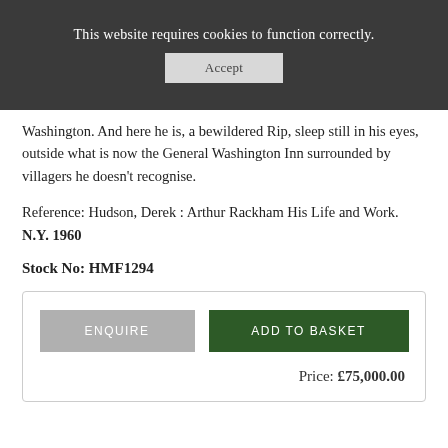This website requires cookies to function correctly.
Washington. And here he is, a bewildered Rip, sleep still in his eyes, outside what is now the General Washington Inn surrounded by villagers he doesn't recognise.
Reference: Hudson, Derek : Arthur Rackham His Life and Work. N.Y. 1960
Stock No: HMF1294
ENQUIRE   ADD TO BASKET
Price: £75,000.00